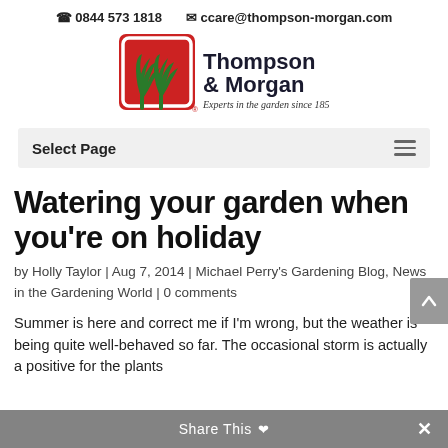📞 0844 573 1818   ✉ ccare@thompson-morgan.com
[Figure (logo): Thompson & Morgan logo — red square with green tree icon, text 'Thompson & Morgan, Experts in the garden since 1855']
Select Page
Watering your garden when you're on holiday
by Holly Taylor | Aug 7, 2014 | Michael Perry's Gardening Blog, News in the Gardening World | 0 comments
Summer is here and correct me if I'm wrong, but the weather is being quite well-behaved so far. The occasional storm is actually a positive for the plants